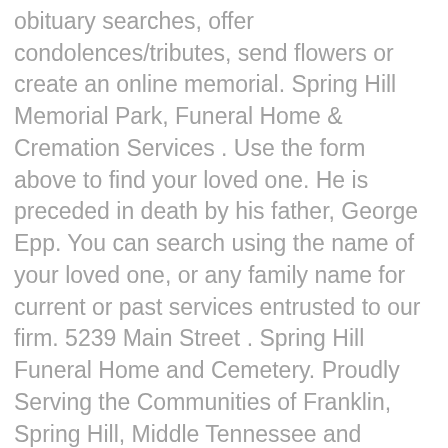obituary searches, offer condolences/tributes, send flowers or create an online memorial. Spring Hill Memorial Park, Funeral Home & Cremation Services . Use the form above to find your loved one. He is preceded in death by his father, George Epp. You can search using the name of your loved one, or any family name for current or past services entrusted to our firm. 5239 Main Street . Spring Hill Funeral Home and Cemetery. Proudly Serving the Communities of Franklin, Spring Hill, Middle Tennessee and Nationwide. Search results are sorted by a combination of factors to give you a set of choices in response to your search criteria. View upcoming funeral services, obituaries, and funeral flowers for Spring Hill Funeral Home and Cemetery in Nashville, Tennessee. Get the information you need about our services and pricing. We provide comfortable surroundings with a warm atmosphere and treat each family with the dignity, respect and professionalism they deserve. Born Home Obituaries OBITUARY: George Bradley Epp. Williamson Memorial Funeral Home and